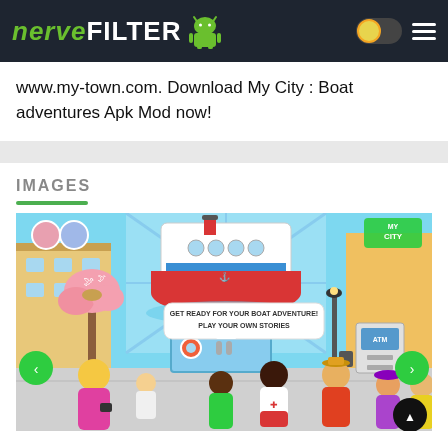NERVEFILTER
www.my-town.com. Download My City : Boat adventures Apk Mod now!
IMAGES
[Figure (screenshot): Screenshot of My City: Boat Adventures app showing cartoon characters at a boat dock. Text bubble reads 'GET READY FOR YOUR BOAT ADVENTURE! PLAY YOUR OWN STORIES'. Navigation arrows and scroll-to-top button visible.]